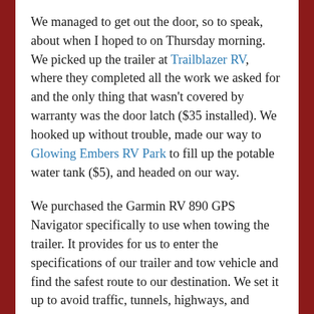We managed to get out the door, so to speak, about when I hoped to on Thursday morning. We picked up the trailer at Trailblazer RV, where they completed all the work we asked for and the only thing that wasn't covered by warranty was the door latch ($35 installed). We hooked up without trouble, made our way to Glowing Embers RV Park to fill up the potable water tank ($5), and headed on our way.
We purchased the Garmin RV 890 GPS Navigator specifically to use when towing the trailer. It provides for us to enter the specifications of our trailer and tow vehicle and find the safest route to our destination. We set it up to avoid traffic, tunnels, highways, and unpaved roads, which is how we managed to stay off the QEII — that section passing Red Deer is a particular nightmare for RVs which we learned the hard way back in 2009 (I think